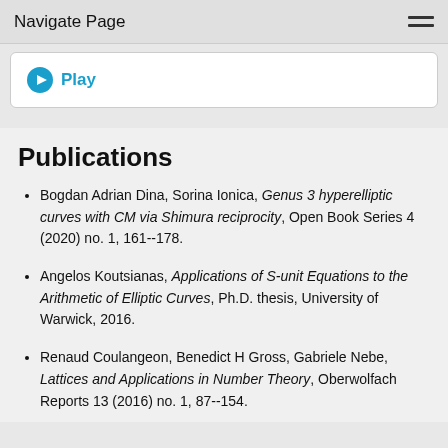Navigate Page
[Figure (other): Play button icon with blue circle and white triangle, labeled 'Play' in blue text]
Publications
Bogdan Adrian Dina, Sorina Ionica, Genus 3 hyperelliptic curves with CM via Shimura reciprocity, Open Book Series 4 (2020) no. 1, 161--178.
Angelos Koutsianas, Applications of S-unit Equations to the Arithmetic of Elliptic Curves, Ph.D. thesis, University of Warwick, 2016.
Renaud Coulangeon, Benedict H Gross, Gabriele Nebe, Lattices and Applications in Number Theory, Oberwolfach Reports 13 (2016) no. 1, 87--154.